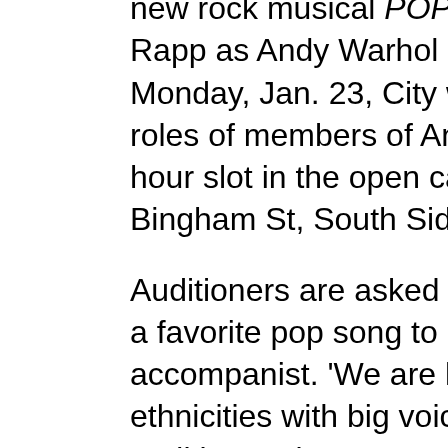and recording artist Billy Porterism will choreograph the new rock musical POP!, featuring Rent star Anthony Rapp as Andy Warhol in its world premiere May 5-27. On Monday, Jan. 23, City will hold open auditions to fill the roles of members of Andy's Factory.To sign up for a half-hour slot in the open call from 4 to 8 p.m. at 1300 Bingham St, South Side, call 412-431-4400 ext. 463.
Auditioners are asked to prepare 16 bars or one verse of a favorite pop song to be sung a capella or with City's accompanist. 'We are looking for all types, ages and ethnicities with big voices, and big personalities,' the audition notice says. 'Wear your finest ‘70s glam and belt out your best number and who knows … you might just find your very own 15 minutes of fame!'
Those who make the cut will be asked to return on Thursday, Jan. 26, for an audition with the POP! creative team, including director by Brad Rouse."